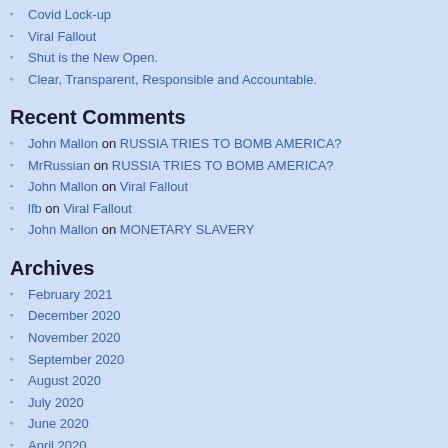Covid Lock-up
Viral Fallout
Shut is the New Open.
Clear, Transparent, Responsible and Accountable.
Recent Comments
John Mallon on RUSSIA TRIES TO BOMB AMERICA?
MrRussian on RUSSIA TRIES TO BOMB AMERICA?
John Mallon on Viral Fallout
lfb on Viral Fallout
John Mallon on MONETARY SLAVERY
Archives
February 2021
December 2020
November 2020
September 2020
August 2020
July 2020
June 2020
April 2020
July 2019
June 2019